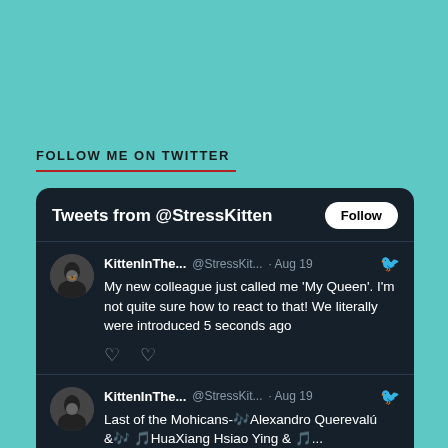FOLLOW ME ON TWITTER
[Figure (screenshot): Twitter widget showing tweets from @StressKitten with a Follow button, two tweets from KittenInThe... @StressKit... on Aug 19.]
Tweets from @StressKitten
KittenInThe... @StressKit... · Aug 19
My new colleague just called me 'My Queen'. I'm not quite sure how to react to that! We literally were introduced 5 seconds ago
KittenInThe... @StressKit... · Aug 19
Last of the Mohicans-🎶Alexandro Querevalú &🎶 🎵HuaXiang Hsiao Ying & 🎵... youtu.be/_yEhTF_teos via @YouTube